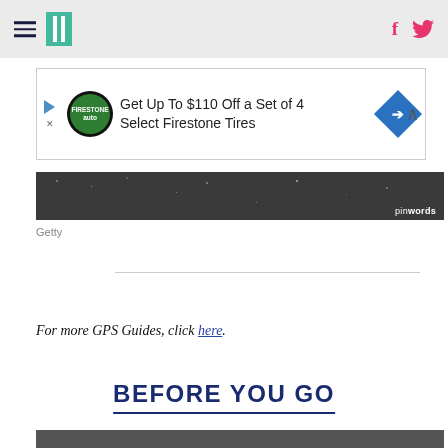HuffPost navigation with hamburger menu, logo, Facebook and Twitter icons
[Figure (screenshot): Advertisement banner: Get Up To $110 Off a Set of 4 Select Firestone Tires with Firestone auto logo and blue diamond arrow icon]
[Figure (photo): Dark granite or stone texture photo strip with pinwords watermark]
Getty
For more GPS Guides, click here.
BEFORE YOU GO